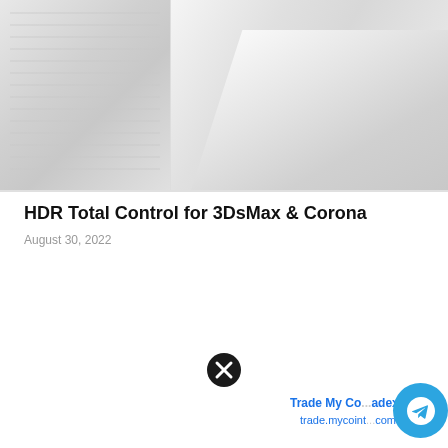[Figure (photo): Split image showing two architectural/interior renders side by side in grayscale: left panel shows a bookcase or shelving unit, right panel shows a staircase or corridor interior. Both are light gray renders.]
HDR Total Control for 3DsMax & Corona
August 30, 2022
[Figure (other): Close (X) button icon — black circle with white X symbol]
[Figure (other): Telegram chat bubble overlay with 'Help/Link Fix' text, partially visible 'Trade My Co...adex' link text, 'trade.mycoint...com' URL, and Telegram logo circle in blue]